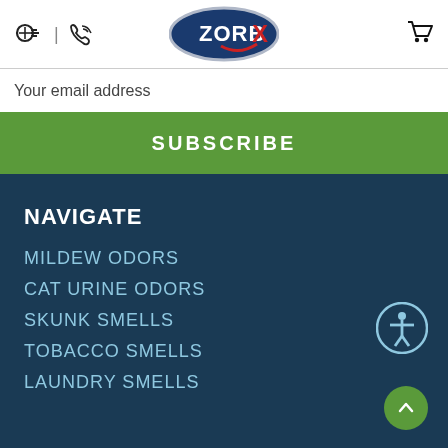[Figure (logo): ZORBX brand logo — oval metallic dark blue background with white bold text 'ZORBX' and a red X mark, with a red swoosh]
Your email address
SUBSCRIBE
NAVIGATE
MILDEW ODORS
CAT URINE ODORS
SKUNK SMELLS
TOBACCO SMELLS
LAUNDRY SMELLS